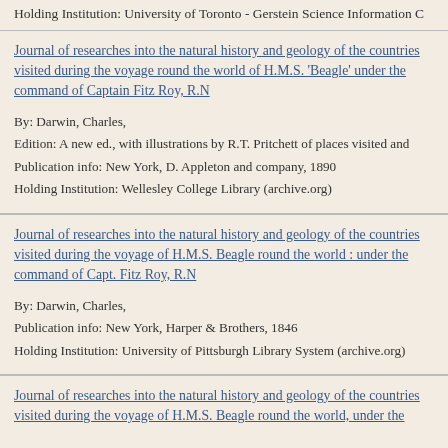Holding Institution: University of Toronto - Gerstein Science Information C
Journal of researches into the natural history and geology of the countries visited during the voyage round the world of H.M.S. 'Beagle' under the command of Captain Fitz Roy, R.N
By: Darwin, Charles,
Edition: A new ed., with illustrations by R.T. Pritchett of places visited and
Publication info: New York, D. Appleton and company, 1890
Holding Institution: Wellesley College Library (archive.org)
Journal of researches into the natural history and geology of the countries visited during the voyage of H.M.S. Beagle round the world : under the command of Capt. Fitz Roy, R.N
By: Darwin, Charles,
Publication info: New York, Harper & Brothers, 1846
Holding Institution: University of Pittsburgh Library System (archive.org)
Journal of researches into the natural history and geology of the countries visited during the voyage of H.M.S. Beagle round the world, under the